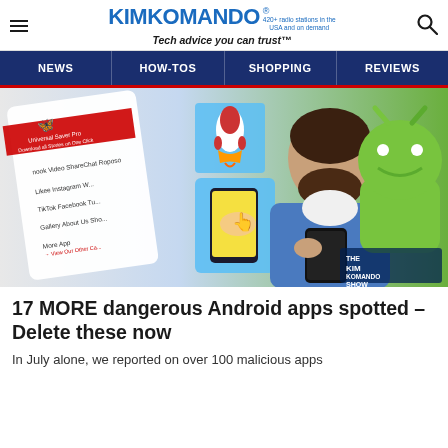KIMKOMANDO® 420+ radio stations in the USA and on demand — Tech advice you can trust™
NEWS | HOW-TOS | SHOPPING | REVIEWS
[Figure (photo): Man looking confused at a smartphone, surrounded by app icons on a white card (Universal Saver Pro, ShareChat, Roposo, TikTok, Facebook, Gallery, About Us and more), a rocket illustration, a phone with a hand pointing at it, and a large green Android mascot robot. THE KIM KOMANDO SHOW watermark in the lower right corner.]
17 MORE dangerous Android apps spotted – Delete these now
In July alone, we reported on over 100 malicious apps